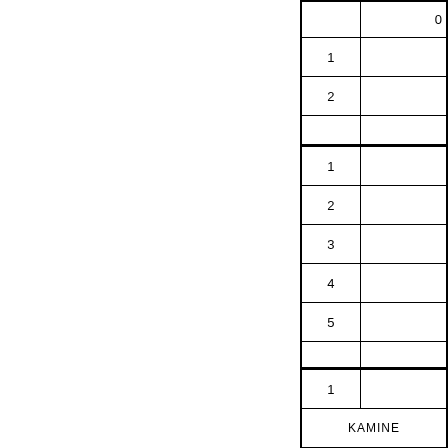|  |  |
| --- | --- |
|  | 0 |
| 1 |  |
| 2 |  |
|  |  |
| 1 |  |
| 2 |  |
| 3 |  |
| 4 |  |
| 5 |  |
|  |  |
| 1 |  |
| KAMINE |  |
| 1 |  |